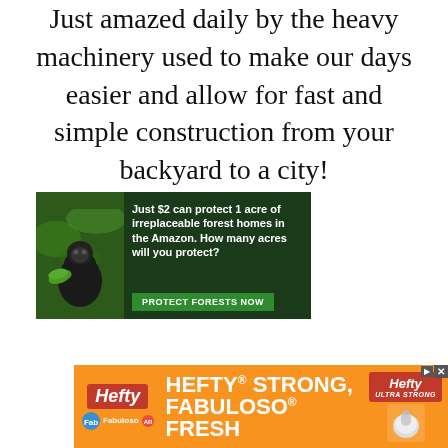Just amazed daily by the heavy machinery used to make our days easier and allow for fast and simple construction from your backyard to a city!
[Figure (photo): Advertisement banner for Amazon rainforest protection: gorilla in forest, text 'Just $2 can protect 1 acre of irreplaceable forest homes in the Amazon. How many acres will you protect?' with green 'PROTECT FORESTS NOW' button]
[Figure (photo): Hefty advertisement banner: orange background, Hefty logo, text 'HEFTY STRONG, FABULOSO FRESH' with Fabuloso branding]